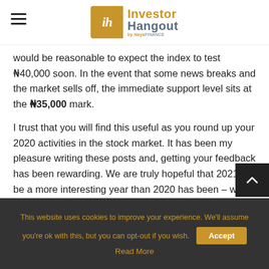Investor Hangout by NayaFINANCE
would be reasonable to expect the index to test N-40,000 soon. In the event that some news breaks and the market sells off, the immediate support level sits at the ₦35,000 mark.
I trust that you will find this useful as you round up your 2020 activities in the stock market. It has been my pleasure writing these posts and, getting your feedback has been rewarding. We are truly hopeful that 2021 will be a more interesting year than 2020 has been – we hope for less drama though.
Till the next post, next year, happy holiday!
This website uses cookies to improve your experience. We'll assume you're ok with this, but you can opt-out if you wish. Accept Read More